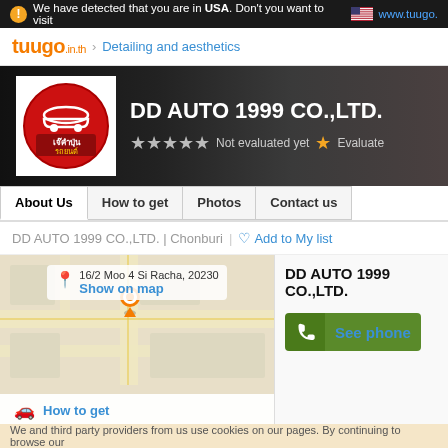We have detected that you are in USA. Don't you want to visit www.tuugo.
tuugo.in.th › Detailing and aesthetics
DD AUTO 1999 CO.,LTD.
Not evaluated yet  Evaluate
About Us  How to get  Photos  Contact us
DD AUTO 1999 CO.,LTD. | Chonburi  |  ♡ Add to My list
[Figure (map): Map showing location at 16/2 Moo 4 Si Racha, 20230 with Show on map link]
16/2 Moo 4 Si Racha, 20230
Show on map
How to get
Contact
DD AUTO 1999 CO.,LTD.
See phone
We and third party providers from us use cookies on our pages. By continuing to browse our